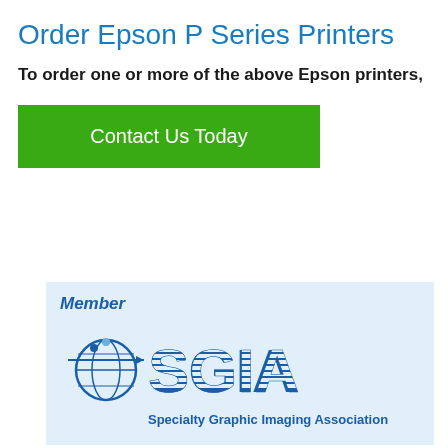Order Epson P Series Printers
To order one or more of the above Epson printers,
[Figure (other): Green button with text 'Contact Us Today']
[Figure (logo): SGIA Member logo — Specialty Graphic Imaging Association — on light blue background]